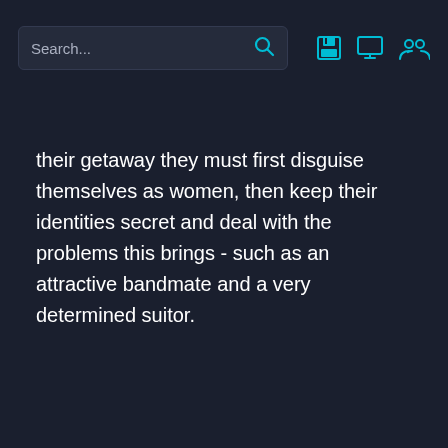Search...
their getaway they must first disguise themselves as women, then keep their identities secret and deal with the problems this brings - such as an attractive bandmate and a very determined suitor.